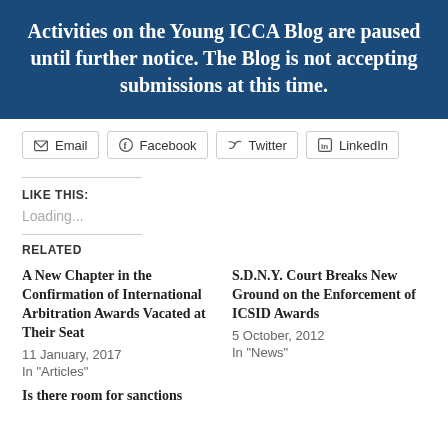Activities on the Young ICCA Blog are paused until further notice. The Blog is not accepting submissions at this time.
Email | Facebook | Twitter | LinkedIn
LIKE THIS:
Loading...
RELATED
A New Chapter in the Confirmation of International Arbitration Awards Vacated at Their Seat
11 January, 2017
In "Articles"
S.D.N.Y. Court Breaks New Ground on the Enforcement of ICSID Awards
5 October, 2012
In "News"
Is there room for sanctions